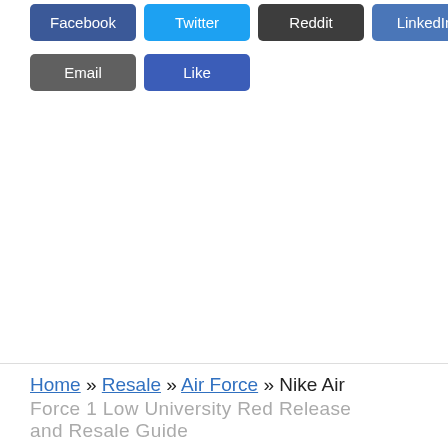[Figure (screenshot): Social media sharing buttons: Facebook (dark blue), Twitter (light blue), Reddit (dark gray), LinkedIn (medium blue)]
[Figure (screenshot): Social sharing buttons row 2: Email (gray), Like (blue)]
Home » Resale » Air Force » Nike Air Force 1 Low University Red Release and Resale Guide